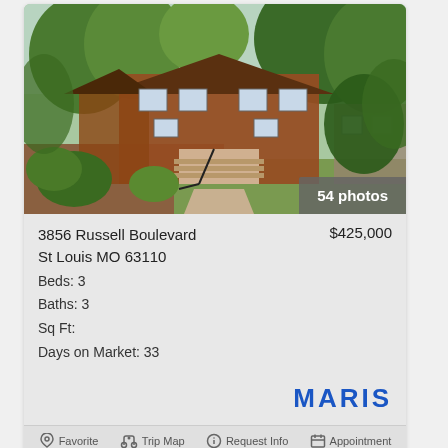[Figure (photo): Exterior photo of a red brick multi-story house with green trees, front steps with iron railing, and landscaped yard]
54 photos
3856 Russell Boulevard
St Louis MO 63110
Beds: 3
Baths: 3
Sq Ft:
Days on Market: 33
$425,000
[Figure (logo): MARIS logo in bold blue letters]
Favorite   Trip Map   Request Info   Appointment